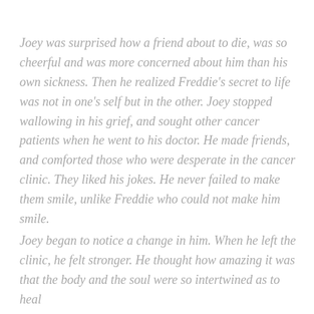Joey was surprised how a friend about to die, was so cheerful and was more concerned about him than his own sickness. Then he realized Freddie's secret to life was not in one's self but in the other. Joey stopped wallowing in his grief, and sought other cancer patients when he went to his doctor. He made friends, and comforted those who were desperate in the cancer clinic. They liked his jokes. He never failed to make them smile, unlike Freddie who could not make him smile.
Joey began to notice a change in him. When he left the clinic, he felt stronger. He thought how amazing it was that the body and the soul were so intertwined as to heal